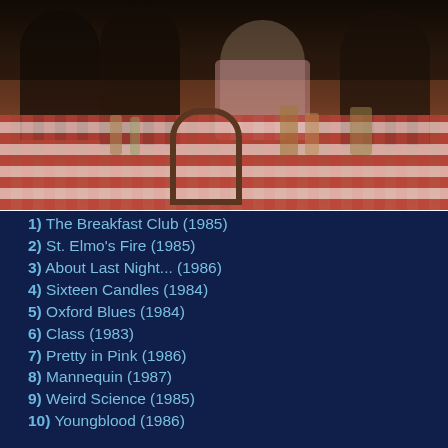[Figure (photo): Film still from St. Elmo's Fire / Brat Pack movie showing young actors sitting at a restaurant table with a red checkered tablecloth, drinks and glasses on the table.]
1) The Breakfast Club (1985)
2) St. Elmo's Fire (1985)
3) About Last Night... (1986)
4) Sixteen Candles (1984)
5) Oxford Blues (1984)
6) Class (1983)
7) Pretty in Pink (1986)
8) Mannequin (1987)
9) Weird Science (1985)
10) Youngblood (1986)